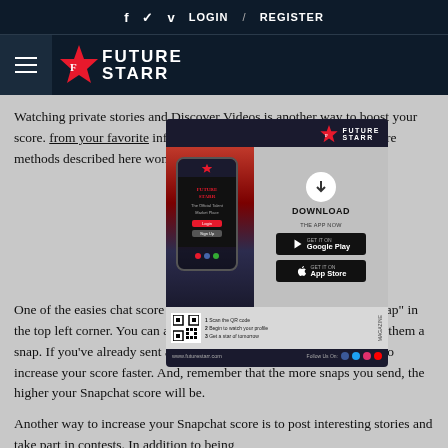f  ✓  v  LOGIN  /  REGISTER
[Figure (logo): FutureStarr logo with hamburger menu icon on dark navy background]
Watching private stories and Discover Videos is another way to boost your score. from your favorite influencers or wa You'll be surprised at the re methods described here won't take m
[Figure (infographic): FutureStarr app download advertisement with phone mockup, Google Play and App Store buttons, QR code, and steps 1-3]
One of the easiest chat score is to send snaps to frie d select "Send Snap" in the top left corner. You can also tap on the name of a friend and send them a snap. If you've already sent a snap to that person, this is a great way to increase your score faster. And, remember that the more snaps you send, the higher your Snapchat score will be.
Another way to increase your Snapchat score is to post interesting stories and take part in contests. In addition to being